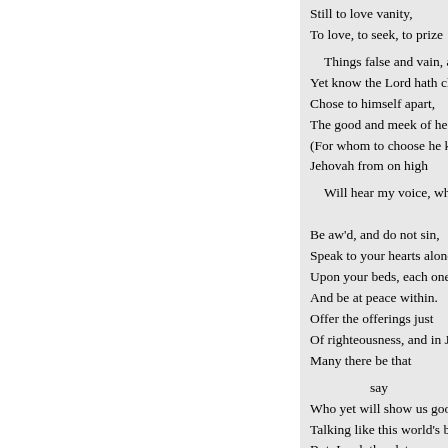Still to love vanity,
To love, to seek, to prize

Things false and vain, and
Yet know the Lord hath cho
Chose to himself apart,
The good and meek of heart
(For whom to choose he kne
Jehovah from on high

Will hear my voice, what t

Be aw'd, and do not sin,
Speak to your hearts alone,
Upon your beds, each one,
And be at peace within.
Offer the offerings just
Of righteousness, and in Jeh
Many there be that

say

Who yet will show us good?
Talking like this world's bro
But, Lord, thus let me pray,
On us lift up the light,